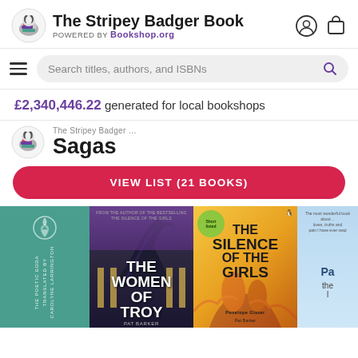The Stripey Badger Book — POWERED BY Bookshop.org
£2,340,446.22 generated for local bookshops
Sagas
VIEW LIST (21 BOOKS)
[Figure (screenshot): Book covers row: The Poetic Edda (teal), The Women of Troy by Pat Barker (dark fantasy), The Silence of the Girls (golden illustrated), and a fourth partially visible book (light blue)]